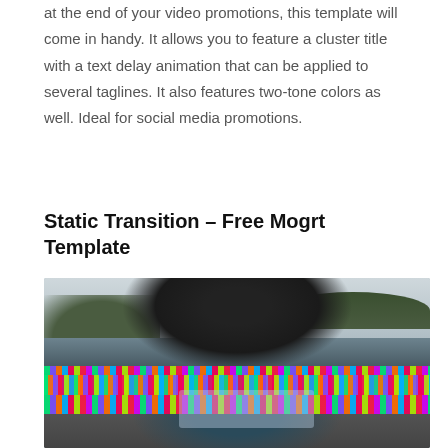at the end of your video promotions, this template will come in handy. It allows you to feature a cluster title with a text delay animation that can be applied to several taglines. It also features two-tone colors as well. Ideal for social media promotions.
Static Transition – Free Mogrt Template
[Figure (photo): A motorcyclist viewed from the front on a road, wearing a black helmet and jacket. A colorful glitch/static transition effect with neon green, purple, orange, and other colored blocks overlays the middle portion of the image.]